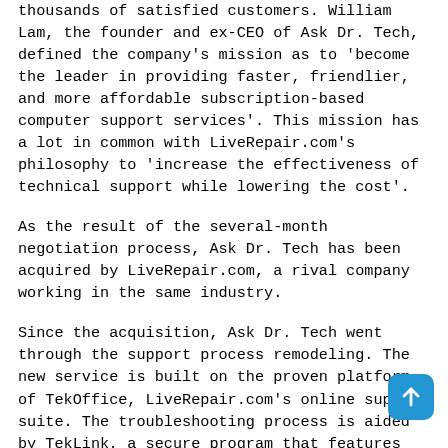thousands of satisfied customers. William Lam, the founder and ex-CEO of Ask Dr. Tech, defined the company's mission as to 'become the leader in providing faster, friendlier, and more affordable subscription-based computer support services'. This mission has a lot in common with LiveRepair.com's philosophy to 'increase the effectiveness of technical support while lowering the cost'.
As the result of the several-month negotiation process, Ask Dr. Tech has been acquired by LiveRepair.com, a rival company working in the same industry.
Since the acquisition, Ask Dr. Tech went through the support process remodeling. The new service is built on the proven platform of TekOffice, LiveRepair.com's online support suite. The troubleshooting process is aided by TekLink, a secure program that features the screen sharing technology and remote diagnostics tools.